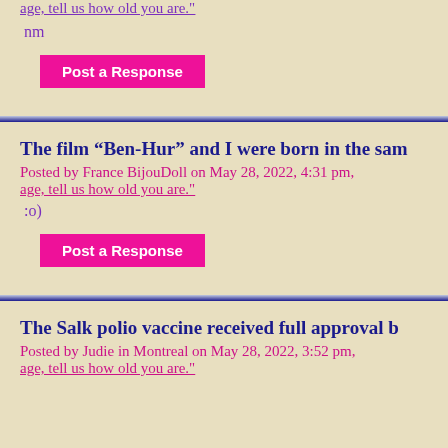age, tell us how old you are."
nm
Post a Response
The film “Ben-Hur” and I were born in the sam
Posted by France BijouDoll on May 28, 2022, 4:31 pm, age, tell us how old you are."
:o)
Post a Response
The Salk polio vaccine received full approval b
Posted by Judie in Montreal on May 28, 2022, 3:52 pm, age, tell us how old you are."